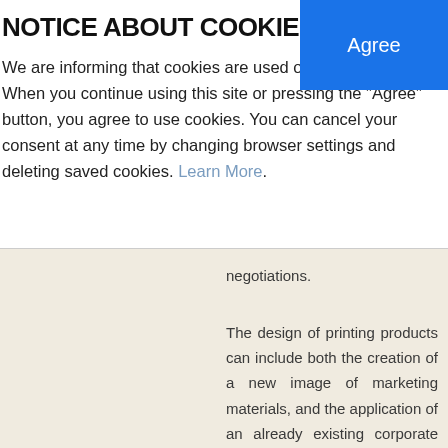NOTICE ABOUT COOKIES
We are informing that cookies are used on this website. When you continue using this site or pressing the "Agree" button, you agree to use cookies. You can cancel your consent at any time by changing browser settings and deleting saved cookies. Learn More.
negotiations.
The design of printing products can include both the creation of a new image of marketing materials, and the application of an already existing corporate style to a certain type of printed products.